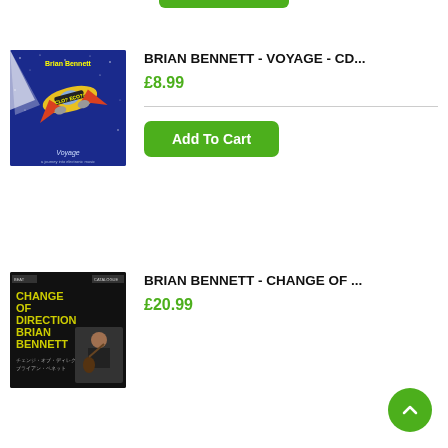[Figure (other): Partial green Add To Cart button visible at top of page (cropped)]
[Figure (photo): Album cover for Brian Bennett - Voyage: sci-fi spacecraft on blue space background with yellow text 'Brian Bennett' and 'Voyage']
BRIAN BENNETT - VOYAGE - CD...
£8.99
Add To Cart
[Figure (photo): Album cover for Brian Bennett - Change of Direction: black background with yellow bold text 'CHANGE OF DIRECTION BRIAN BENNETT' and photo of musician with guitar]
BRIAN BENNETT - CHANGE OF ...
£20.99